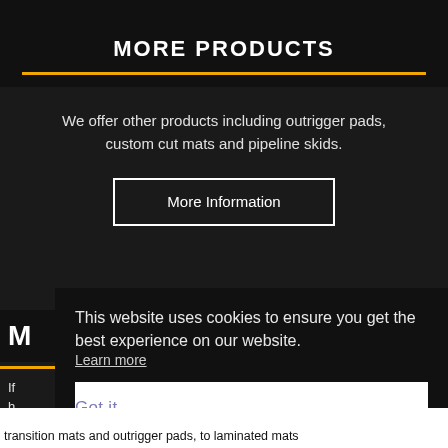MORE PRODUCTS
We offer other products including outrigger pads, custom cut mats and pipeline skids.
More Information
This website uses cookies to ensure you get the best experience on our website.
Learn more
Got it
transition mats and outrigger pads, to laminated mats